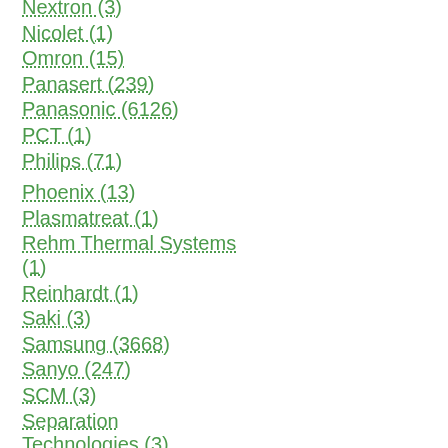Nextron (3)
Nicolet (1)
Omron (15)
Panasert (239)
Panasonic (6126)
PCT (1)
Philips (71)
Phoenix (13)
Plasmatreat (1)
Rehm Thermal Systems (1)
Reinhardt (1)
Saki (3)
Samsung (3668)
Sanyo (247)
SCM (3)
Separation Technologies (3)